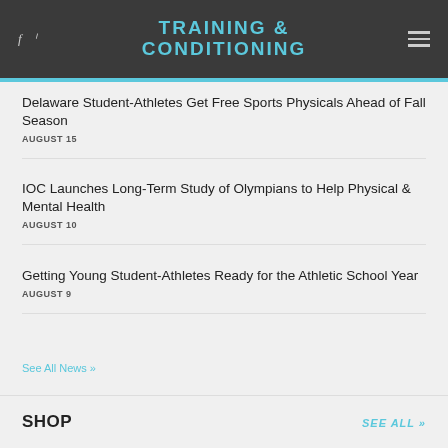TRAINING & CONDITIONING
Delaware Student-Athletes Get Free Sports Physicals Ahead of Fall Season
AUGUST 15
IOC Launches Long-Term Study of Olympians to Help Physical & Mental Health
AUGUST 10
Getting Young Student-Athletes Ready for the Athletic School Year
AUGUST 9
See All News »
SHOP
SEE ALL »